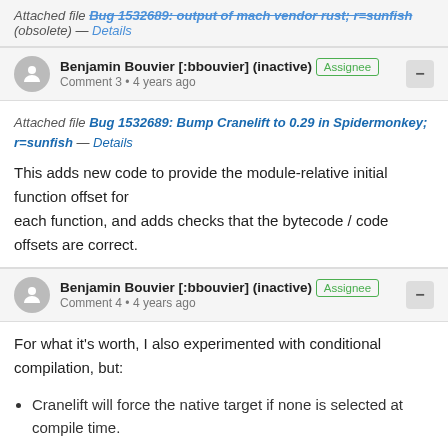Attached file Bug 1532689: output of mach vendor rust; r=sunfish (obsolete) — Details
Benjamin Bouvier [:bbouvier] (inactive) Assignee
Comment 3 • 4 years ago
Attached file Bug 1532689: Bump Cranelift to 0.29 in Spidermonkey; r=sunfish — Details

This adds new code to provide the module-relative initial function offset for each function, and adds checks that the bytecode / code offsets are correct.
Benjamin Bouvier [:bbouvier] (inactive) Assignee
Comment 4 • 4 years ago
For what it's worth, I also experimented with conditional compilation, but:
Cranelift will force the native target if none is selected at compile time.